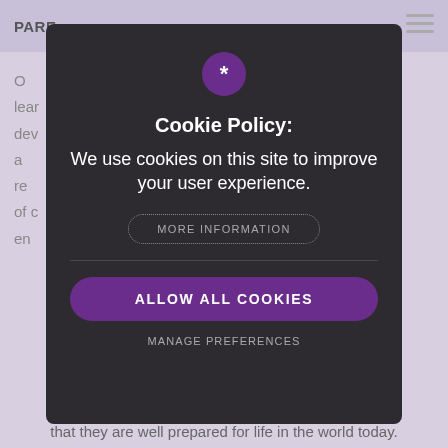PARE
[Figure (screenshot): Cookie consent modal popup overlay on a website. Dark background modal with purple asterisk icon, Cookie Policy title, body text 'We use cookies on this site to improve your user experience.', a dotted 'MORE INFORMATION' button, a divider, a purple 'ALLOW ALL COOKIES' button, and a 'MANAGE PREFERENCES' text link. Behind the modal, partially visible website text about learning and student development.]
that they are well prepared for life in the world today.